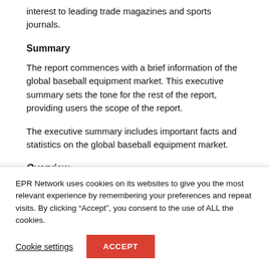interest to leading trade magazines and sports journals.
Summary
The report commences with a brief information of the global baseball equipment market. This executive summary sets the tone for the rest of the report, providing users the scope of the report.
The executive summary includes important facts and statistics on the global baseball equipment market.
Overview
EPR Network uses cookies on its websites to give you the most relevant experience by remembering your preferences and repeat visits. By clicking “Accept”, you consent to the use of ALL the cookies.
Cookie settings
ACCEPT